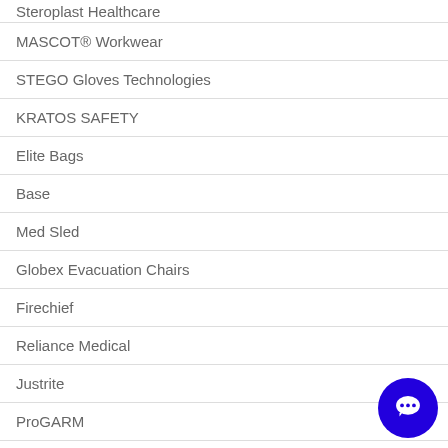Steroplast Healthcare
MASCOT® Workwear
STEGO Gloves Technologies
KRATOS SAFETY
Elite Bags
Base
Med Sled
Globex Evacuation Chairs
Firechief
Reliance Medical
Justrite
ProGARM
Prime Mover